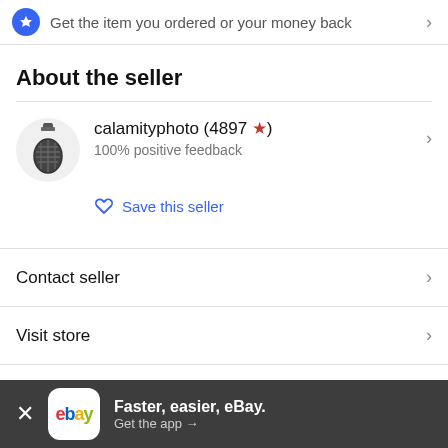Get the item you ordered or your money back
About the seller
calamityphoto (4897 ★)
100% positive feedback
Save this seller
Contact seller
Visit store
Seller's other items
Faster, easier, eBay. Get the app →